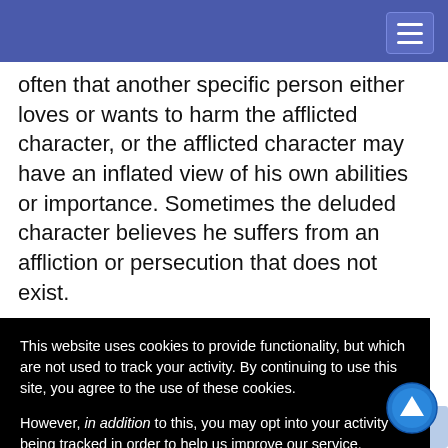often that another specific person either loves or wants to harm the afflicted character, or the afflicted character may have an inflated view of his own abilities or importance. Sometimes the deluded character believes he suffers from an affliction or persecution that does not exist.
The exact nature of the delusion is decided by [displayed, to skill and delusion, or nt because of ircumstances, in others they ose around
This website uses cookies to provide functionality, but which are not used to track your activity. By continuing to use this site, you agree to the use of these cookies.

However, in addition to this, you may opt into your activity being tracked in order to help us improve our service.

For more information, please click here
OK   No, thank you